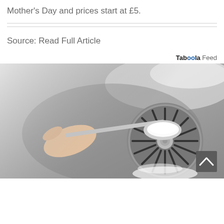Mother's Day and prices start at £5.
Source: Read Full Article
Taboola Feed
[Figure (photo): A hand holding a spoon of white powder (baking soda) over a stainless steel kitchen sink drain, with powder being poured into the drain. A grey back-to-top arrow button appears in the lower right corner of the image.]